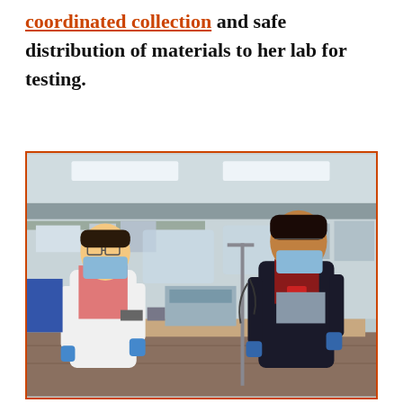[link: coordinated collection] and safe distribution of materials to her lab for testing.
[Figure (photo): Two researchers in masks and gloves standing in a laboratory. One person on the left wears a white lab coat over a pink hoodie, glasses, and a blue face mask. The person on the right wears a dark jacket and maroon shirt with a blue face mask. Both wear blue gloves. Laboratory equipment and shelving visible in the background.]